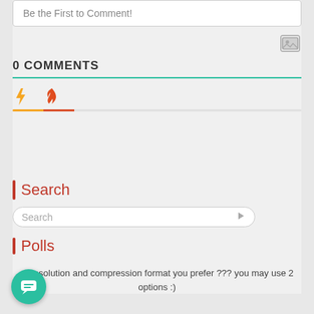Be the First to Comment!
[Figure (other): Image icon button (gallery/photo icon)]
0 COMMENTS
[Figure (other): Tab bar with lightning bolt icon (yellow) and flame icon (red-orange), with colored underlines]
Search
Search
Polls
at resolution and compression format you prefer ??? you may use 2 options :)
[Figure (other): Teal circular chat/message FAB button with speech bubble icon]